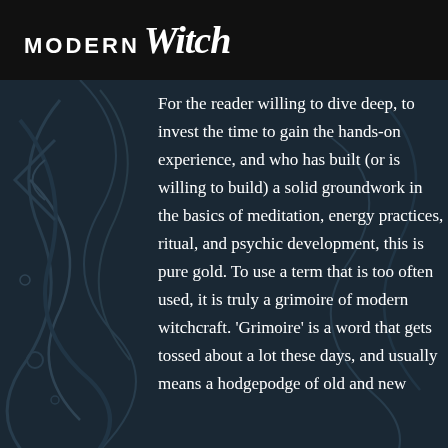MODERN Witch
For the reader willing to dive deep, to invest the time to gain the hands-on experience, and who has built (or is willing to build) a solid groundwork in the basics of meditation, energy practices, ritual, and psychic development, this is pure gold. To use a term that is too often used, it is truly a grimoire of modern witchcraft. 'Grimoire' is a word that gets tossed about a lot these days, and usually means a hodgepodge of old and new